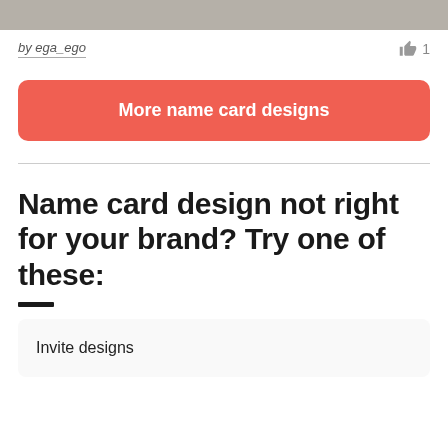[Figure (other): Gray banner image at top of page]
by ega_ego
👍 1
More name card designs
Name card design not right for your brand? Try one of these:
Invite designs